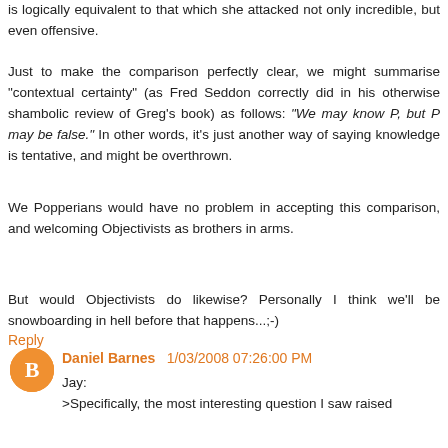is logically equivalent to that which she attacked not only incredible, but even offensive.
Just to make the comparison perfectly clear, we might summarise "contextual certainty" (as Fred Seddon correctly did in his otherwise shambolic review of Greg's book) as follows: "We may know P, but P may be false." In other words, it's just another way of saying knowledge is tentative, and might be overthrown.
We Popperians would have no problem in accepting this comparison, and welcoming Objectivists as brothers in arms.
But would Objectivists do likewise? Personally I think we'll be snowboarding in hell before that happens...;-)
Reply
Daniel Barnes 1/03/2008 07:26:00 PM
Jay:
>Specifically, the most interesting question I saw raised